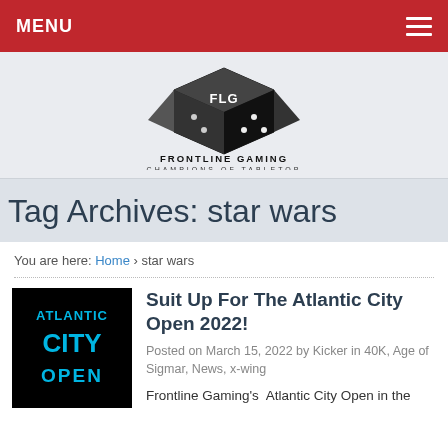MENU
[Figure (logo): Frontline Gaming logo — dice cube with 'FLG' text, below it 'FRONTLINE GAMING' and 'CHAMPIONS OF TABLETOP']
Tag Archives: star wars
You are here: Home › star wars
[Figure (illustration): Atlantic City Open logo — black background with 'ATLANTIC CITY OPEN' text in cyan/blue]
Suit Up For The Atlantic City Open 2022!
Posted on March 15, 2022 by Kicker in 40K, Age of Sigmar, News, x-wing
Frontline Gaming's  Atlantic City Open in the